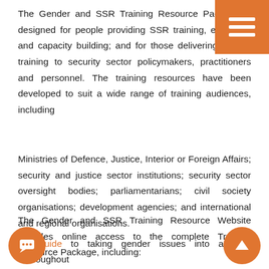The Gender and SSR Training Resource Package is designed for people providing SSR training, education and capacity building; and for those delivering gender training to security sector policymakers, practitioners and personnel. The training resources have been developed to suit a wide range of training audiences, including
Ministries of Defence, Justice, Interior or Foreign Affairs; security and justice sector institutions; security sector oversight bodies; parliamentarians; civil society organisations; development agencies; and international and regional organisations.
The Gender and SSR Training Resource Website provides online access to the complete Training Resource Package, including:
* A guide to taking gender issues into account throughout